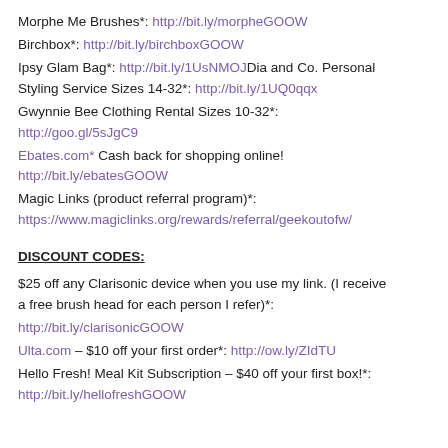Morphe Me Brushes*: http://bit.ly/morpheGOOW
Birchbox*: http://bit.ly/birchboxGOOW
Ipsy Glam Bag*: http://bit.ly/1UsNMOJDia and Co. Personal Styling Service Sizes 14-32*: http://bit.ly/1UQ0qqx
Gwynnie Bee Clothing Rental Sizes 10-32*:
http://goo.gl/5sJgC9
Ebates.com* Cash back for shopping online!
http://bit.ly/ebatesGOOW
Magic Links (product referral program)*:
https://www.magiclinks.org/rewards/referral/geekoutofw/
DISCOUNT CODES:
$25 off any Clarisonic device when you use my link. (I receive a free brush head for each person I refer)*:
http://bit.ly/clarisonicGOOW
Ulta.com – $10 off your first order*: http://ow.ly/ZIdTU
Hello Fresh! Meal Kit Subscription – $40 off your first box!*:
http://bit.ly/hellofreshGOOW